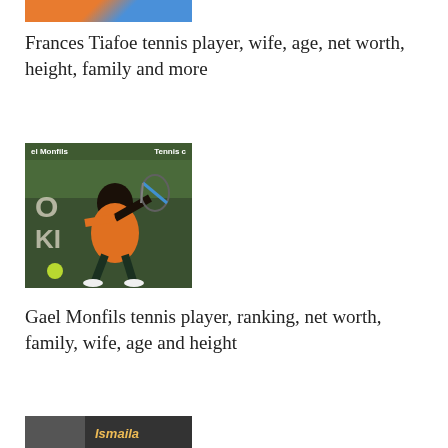[Figure (photo): Partial photo of Frances Tiafoe tennis player cropped at top]
Frances Tiafoe tennis player, wife, age, net worth, height, family and more
[Figure (photo): Gael Monfils tennis player in orange shirt hitting a backhand shot on court, with text 'el Monfils' and 'Tennis c' overlaid at top]
Gael Monfils tennis player, ranking, net worth, family, wife, age and height
[Figure (photo): Partial photo at bottom with 'Ismaila' text overlay, dark image cropped]